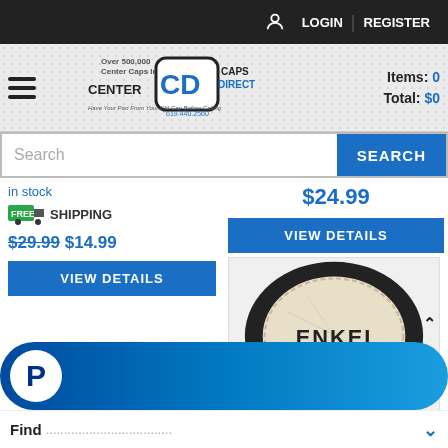LOGIN  REGISTER
[Figure (logo): Center Caps Direct logo with text 'Over 500,000 Center Caps In Stock! 619.440.2560 Have Your Part From Your Old Cap Before Calling']
Items: 0  Total: $0
Search
in stock
[Figure (infographic): Free shipping truck icon with green FREE badge]
SHIPPING
$24.99
$29.99 $14.99
VIEW DETAILS
VIEW DETAILS
[Figure (photo): Enkei wheel center cap, circular, black outer ring with white/cream face showing ENKEI text logo]
[Figure (infographic): PayPal payment button bar with PayPal logo P on white circle, blue gradient background]
Find ................................